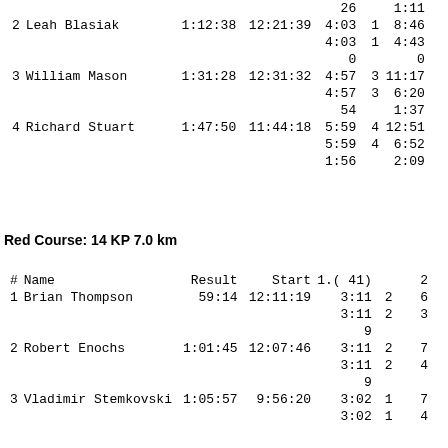| # | Name | Result | Start | 1.(41) |  |  |
| --- | --- | --- | --- | --- | --- | --- |
|  |  |  |  | 26 |  | 1:11 |
| 2 | Leah Blasiak | 1:12:38 | 12:21:39 | 4:03 | 1 | 8:46 |
|  |  |  |  | 4:03 | 1 | 4:43 |
|  |  |  |  | 0 |  | 0 |
| 3 | William Mason | 1:31:28 | 12:31:32 | 4:57 | 3 | 11:17 |
|  |  |  |  | 4:57 | 3 | 6:20 |
|  |  |  |  | 54 |  | 1:37 |
| 4 | Richard Stuart | 1:47:50 | 11:44:18 | 5:59 | 4 | 12:51 |
|  |  |  |  | 5:59 | 4 | 6:52 |
|  |  |  |  | 1:56 |  | 2:09 |
Red Course: 14 KP 7.0 km
| # | Name | Result | Start | 1.( 41) | 2 |
| --- | --- | --- | --- | --- | --- |
| 1 | Brian Thompson | 59:14 | 12:11:19 | 3:11 | 2 | 6 |
|  |  |  |  | 3:11 | 2 | 3 |
|  |  |  |  | 9 |  |  |
| 2 | Robert Enochs | 1:01:45 | 12:07:46 | 3:11 | 2 | 7 |
|  |  |  |  | 3:11 | 2 | 4 |
|  |  |  |  | 9 |  |  |
| 3 | Vladimir Stemkovski | 1:05:57 | 9:56:20 | 3:02 | 1 | 7 |
|  |  |  |  | 3:02 | 1 | 4 |